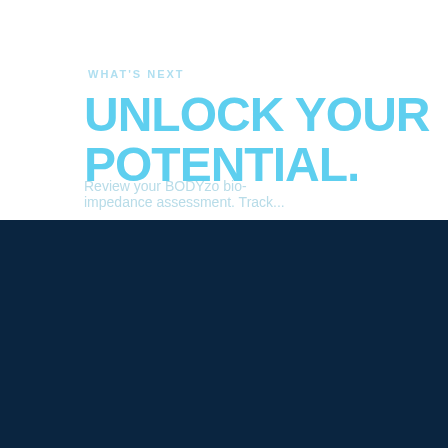WHAT'S NEXT
UNLOCK YOUR POTENTIAL.
Review your BODYzo bio-impedance assessment. Track...
WE KNOW IT SOUNDS TOO GOOD TO BE TRUE. THAT'S WHY WE'LL PROVE IT TO YOU WITH MEASURABLE RESULTS YOU CAN SEE WEEKLY.
KNOWING AND MANAGING YOUR INTERNAL BODY...